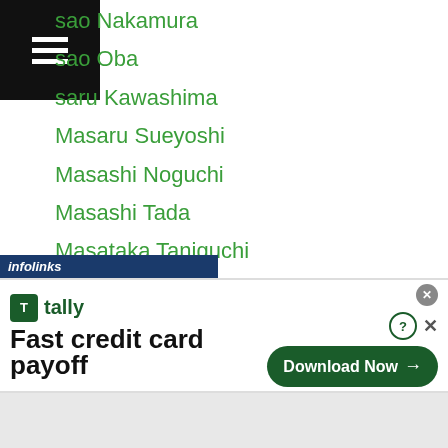sao Nakamura
sao Oba
saru Kawashima
Masaru Sueyoshi
Masashi Noguchi
Masashi Tada
Masataka Taniguchi
Masato Morisaka
Masatoshi Kotani
Masato Yamashita
Masaya Motoishi
Masayasu Nakamura
Masaya Tamayama
Masayoshi Hashizume
Masayoshi Kotake
Masayoshi Nakatani
[Figure (screenshot): Tally app advertisement banner: 'Fast credit card payoff' with Download Now button]